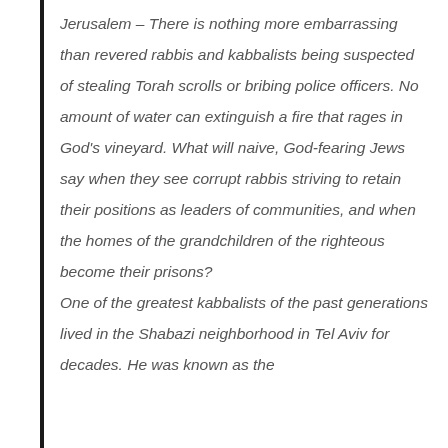Jerusalem – There is nothing more embarrassing than revered rabbis and kabbalists being suspected of stealing Torah scrolls or bribing police officers. No amount of water can extinguish a fire that rages in God's vineyard. What will naive, God-fearing Jews say when they see corrupt rabbis striving to retain their positions as leaders of communities, and when the homes of the grandchildren of the righteous become their prisons? One of the greatest kabbalists of the past generations lived in the Shabazi neighborhood in Tel Aviv for decades. He was known as the